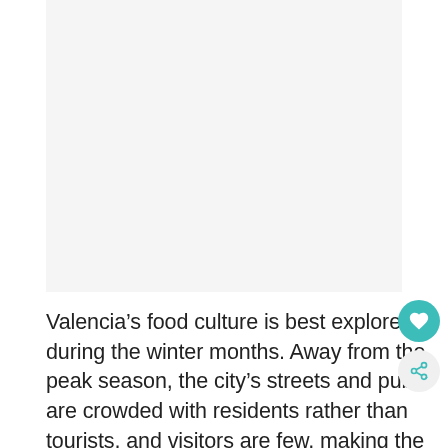[Figure (photo): Large image area, appears blank/white in this crop]
Valencia’s food culture is best explored during the winter months. Away from the peak season, the city’s streets and pubs are crowded with residents rather than tourists, and visitors are few, making the best time to get a genuine sense of the city its cuisine.